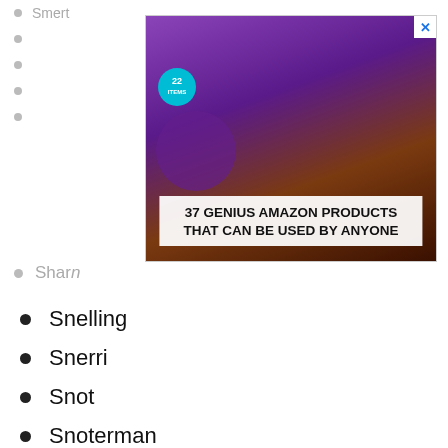Smert
[Figure (screenshot): Advertisement banner: 37 GENIUS AMAZON PRODUCTS THAT CAN BE USED BY ANYONE, with purple headphones image and 22 badge, blue X close button]
Sharn
Snelling
Snerri
Snot
Snoterman
Snotta
We use cookies on our website to give you the most relevant experience by remembering your preferences and repeat visits. By clicking “Accept”, you consent to the use of ALL the cookies.
Do not sell my personal information
Cookie Settings
[Figure (screenshot): Advertisement banner: 37 ITEMS PEOPLE LOVE TO PURCHASE ON AMAZON, with dark food/kitchen background and 22 badge, blue X close button]